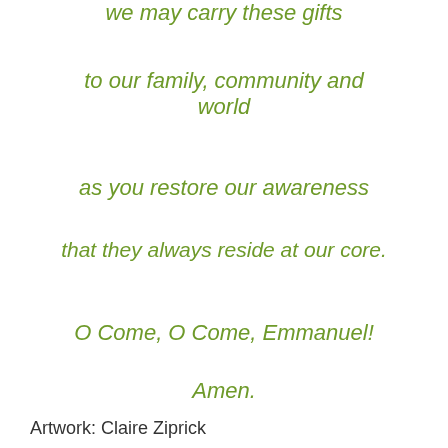we may carry these gifts
to our family, community and world
as you restore our awareness
that they always reside at our core.
O Come, O Come, Emmanuel!
Amen.
Artwork: Claire Ziprick